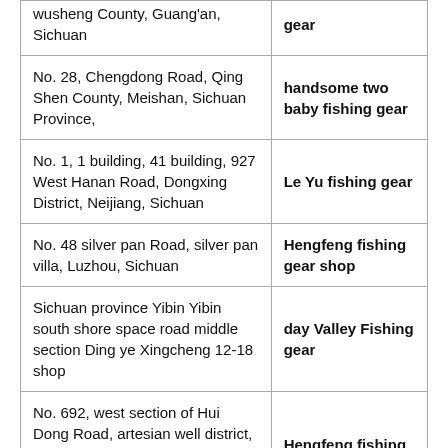| wusheng County, Guang'an, Sichuan | gear |
| No. 28, Chengdong Road, Qing Shen County, Meishan, Sichuan Province, | handsome two baby fishing gear |
| No. 1, 1 building, 41 building, 927 West Hanan Road, Dongxing District, Neijiang, Sichuan | Le Yu fishing gear |
| No. 48 silver pan Road, silver pan villa, Luzhou, Sichuan | Hengfeng fishing gear shop |
| Sichuan province Yibin Yibin south shore space road middle section Ding ye Xingcheng 12-18 shop | day Valley Fishing gear |
| No. 692, west section of Hui Dong Road, artesian well district, Zigong, Sichuan (opposite to the commercial city opposite mountains) | Hengfeng fishing gear shop |